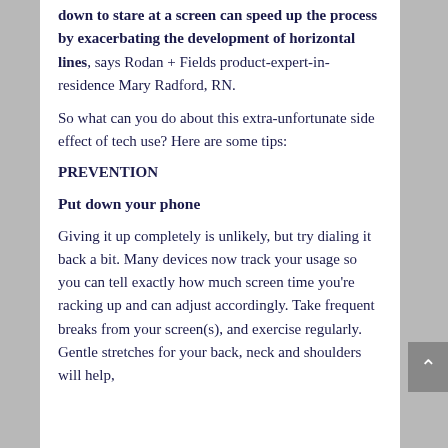down to stare at a screen can speed up the process by exacerbating the development of horizontal lines, says Rodan + Fields product-expert-in-residence Mary Radford, RN.
So what can you do about this extra-unfortunate side effect of tech use? Here are some tips:
PREVENTION
Put down your phone
Giving it up completely is unlikely, but try dialing it back a bit. Many devices now track your usage so you can tell exactly how much screen time you're racking up and can adjust accordingly. Take frequent breaks from your screen(s), and exercise regularly. Gentle stretches for your back, neck and shoulders will help,